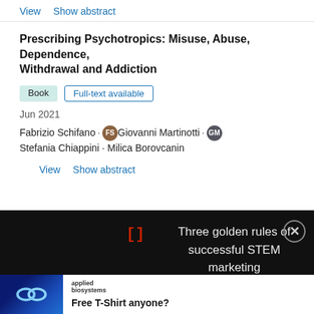View   Show abstract
Prescribing Psychotropics: Misuse, Abuse, Dependence, Withdrawal and Addiction
Book   Full-text available
Jun 2021
Fabrizio Schifano · Giovanni Martinotti · Stefania Chiappini · Milica Borovcanin
View   Show abstract
[] Three golden rules of successful STEM marketing
[Figure (other): Applied Biosystems logo — an infinity symbol in blue tones]
applied biosystems   Free T-Shirt anyone?